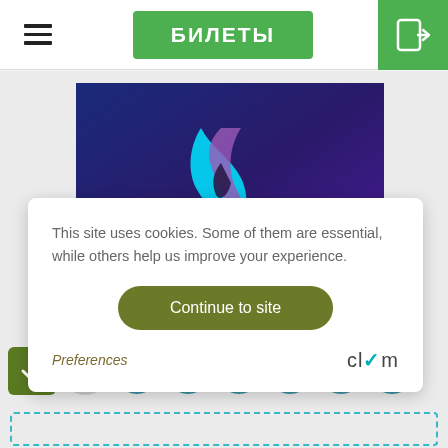БИЛЕТЫ
[Figure (screenshot): Website screenshot showing a navigation bar with hamburger menu, green 'БИЛЕТЫ' button, and login icon on the right]
[Figure (photo): Event promotional image with blue-purple gradient background and a glowing cyan/purple ribbon logo in the center]
This site uses cookies. Some of them are essential, while others help us improve your experience.
Continue to site
Preferences
clym
× 1 2 3 4 5